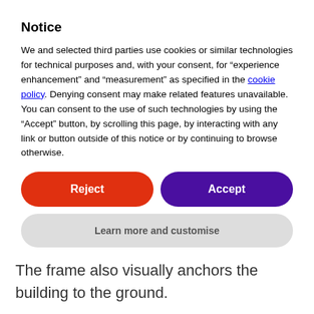Notice
We and selected third parties use cookies or similar technologies for technical purposes and, with your consent, for “experience enhancement” and “measurement” as specified in the cookie policy. Denying consent may make related features unavailable. You can consent to the use of such technologies by using the “Accept” button, by scrolling this page, by interacting with any link or button outside of this notice or by continuing to browse otherwise.
Reject
Accept
Learn more and customise
emphasis of the building, and encloses the fire-fighting cores that serve the office floors. The frame also visually anchors the building to the ground.